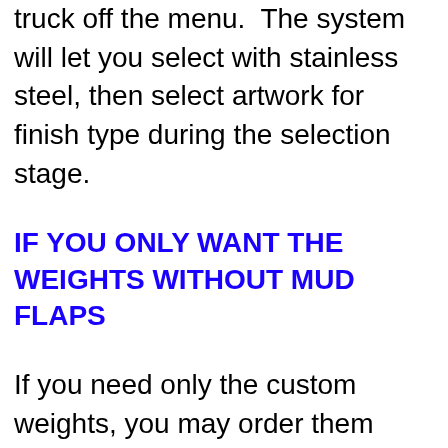truck off the menu. The system will let you select with stainless steel, then select artwork for finish type during the selection stage.
IF YOU ONLY WANT THE WEIGHTS WITHOUT MUD FLAPS
If you need only the custom weights, you may order them here by selecting the design you want. They are sold as 1 each, you will want to enter 2 if you need a pair. There is a substantial savings on the artwork when buying them with the mud flaps. You will want to order the mud flap... from the next ...